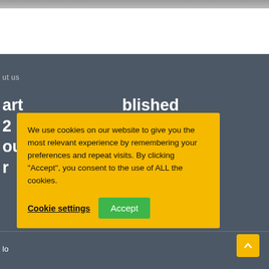[Figure (screenshot): Top white section with a blurred photo strip at very top edge]
[Figure (screenshot): Dark gray background section representing a webpage with blurred interior/room photo]
ut us
art ... blished 2... the ou... d r...
We use cookies on our website to give you the most relevant experience by remembering your preferences and repeat visits. By clicking "Accept", you consent to the use of ALL the cookies.
Cookie settings
Accept
lo